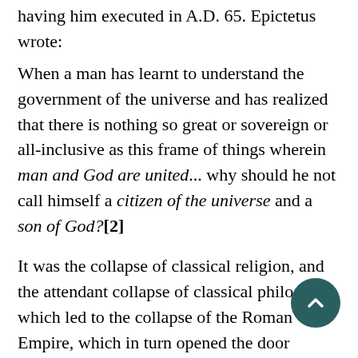having him executed in A.D. 65. Epictetus wrote:
When a man has learnt to understand the government of the universe and has realized that there is nothing so great or sovereign or all-inclusive as this frame of things wherein man and God are united... why should he not call himself a citizen of the universe and a son of God?[2]
It was the collapse of classical religion, and the attendant collapse of classical philosophy, which led to the collapse of the Roman Empire, which in turn opened the door historically to the triumph of Christian religion and philosophy.[3] Any attempt to save Western civilization by means of a revival of classical philosophy is suicidal. It is interesting that the last great Stoic philosopher, the Emperor Marcus Aurelius, was a persecutor of the Church. Justin Martyr died under his reign.